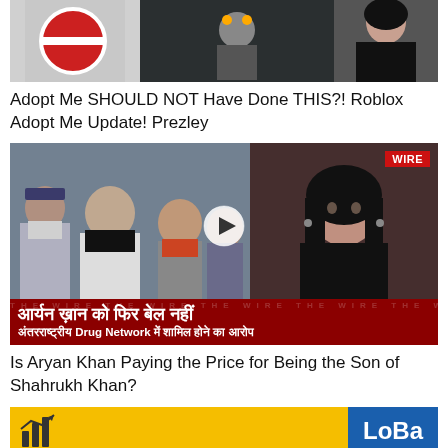[Figure (screenshot): Top image strip showing partial video thumbnail - red circular sign on left, game character costume in middle, woman in black on right]
Adopt Me SHOULD NOT Have Done THIS?! Roblox Adopt Me Update! Prezley
[Figure (screenshot): News video thumbnail from The Wire showing Aryan Khan with police/officials wearing masks on left, female news anchor in black on right, with WIRE badge, play button overlay, and Hindi text banner: आर्यन ख़ान को फिर बेल नहीं / अंतरराष्ट्रीय Drug Network में शामिल होने का आरोप]
Is Aryan Khan Paying the Price for Being the Son of Shahrukh Khan?
[Figure (screenshot): Bottom advertisement strip - yellow background with bar chart icon on left, blue section with LoBa text on right]